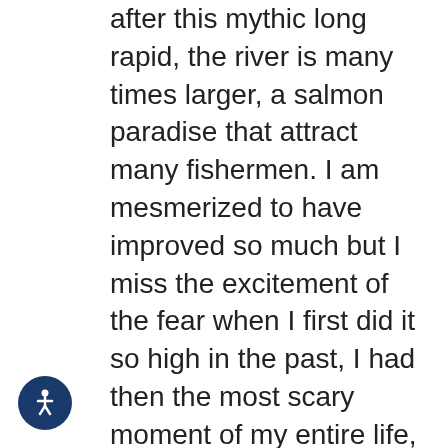after this mythic long rapid, the river is many times larger, a salmon paradise that attract many fishermen. I am mesmerized to have improved so much but I miss the excitement of the fear when I first did it so high in the past, I had then the most scary moment of my entire life, going for the biggest line without anticipating how small I would feel in this massive water, and once first engaged in this place you can't turn back, you have to aim down knowing it becomes only bigger. Spring makes me realize I am kayaking on a different level than before, I manage clean lines in all the big local rapids. It magnificently turns into summer opened by successful Extreme Sport Veko where I beneficiate from
[Figure (illustration): Accessibility icon button — circular dark blue button with a white human figure (wheelchair accessibility symbol)]